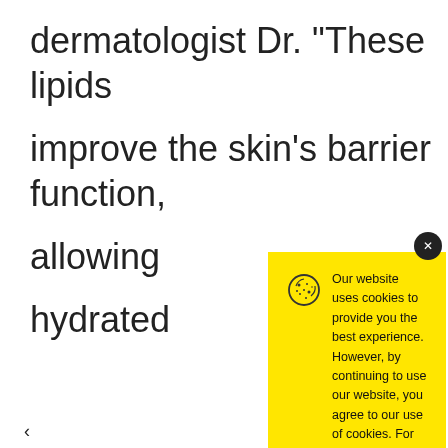dermatologist Dr. “These lipids improve the skin’s barrier function, allowing hydrated
[Figure (screenshot): Cookie consent modal with yellow background, cookie icon, text about cookie policy, and Accept button. Close (x) button in top-right corner.]